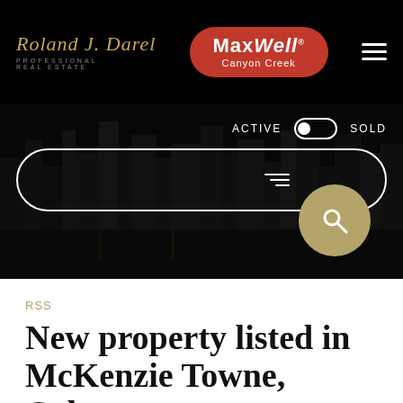[Figure (logo): Roland J. Darel Professional Real Estate logo with Maxwell Canyon Creek badge and hamburger menu on black header bar]
[Figure (screenshot): Dark hero section with city skyline background, ACTIVE/SOLD toggle, search bar with filter icon and gold search button]
RSS
New property listed in McKenzie Towne, Calgary
Posted on March 9, 2013 by Roland J. Darel
Posted in: McKenzie Towne, Calgary Real Estate